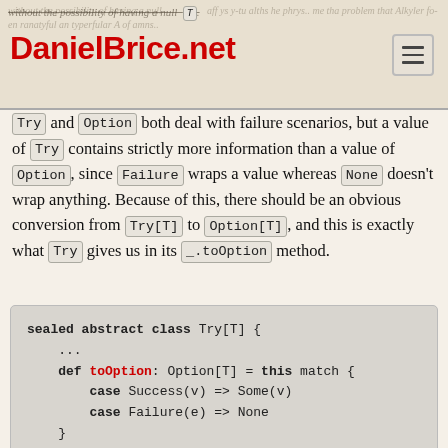DanielBrice.net
Try and Option both deal with failure scenarios, but a value of Try contains strictly more information than a value of Option, since Failure wraps a value whereas None doesn't wrap anything. Because of this, there should be an obvious conversion from Try[T] to Option[T], and this is exactly what Try gives us in its _.toOption method.
sealed abstract class Try[T] {
    ...
    def toOption: Option[T] = this match {
        case Success(v) => Some(v)
        case Failure(e) => None
    }
    ...
}